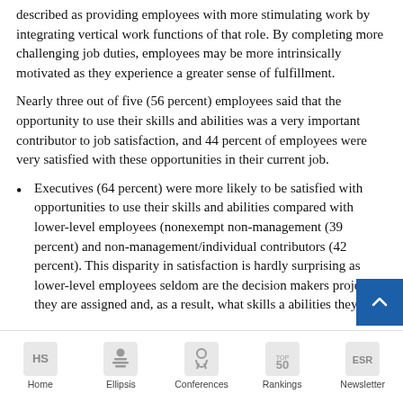described as providing employees with more stimulating work by integrating vertical work functions of that role. By completing more challenging job duties, employees may be more intrinsically motivated as they experience a greater sense of fulfillment.
Nearly three out of five (56 percent) employees said that the opportunity to use their skills and abilities was a very important contributor to job satisfaction, and 44 percent of employees were very satisfied with these opportunities in their current job.
Executives (64 percent) were more likely to be satisfied with opportunities to use their skills and abilities compared with lower-level employees (nonexempt non-management (39 percent) and non-management/individual contributors (42 percent). This disparity in satisfaction is hardly surprising as lower-level employees seldom are the decision makers projects they are assigned and, as a result, what skills a abilities they...
Home | Ellipsis | Conferences | Rankings | Newsletter